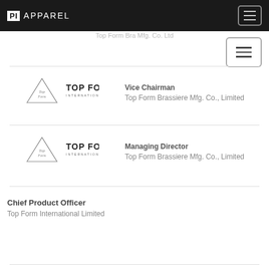PI APPAREL
Top Form Bra Mfg. Co. Ltd
[Figure (logo): Top Form International Limited logo with triangle and script]
Vice Chairman
Top Form Brassiere Mfg. Co., Limited
[Figure (logo): Top Form International Limited logo with triangle and script]
Managing Director
Top Form Brassiere Mfg. Co., Limited
Chief Product Officer
Top Form International Limited